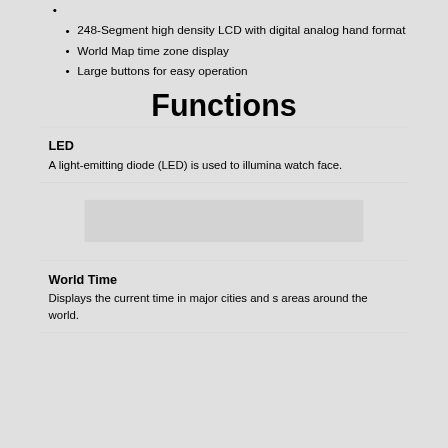248-Segment high density LCD with digital analog hand format
World Map time zone display
Large buttons for easy operation
Functions
LED
A light-emitting diode (LED) is used to illumina watch face.
[Figure (photo): Gray placeholder image block]
World Time
Displays the current time in major cities and s areas around the world.